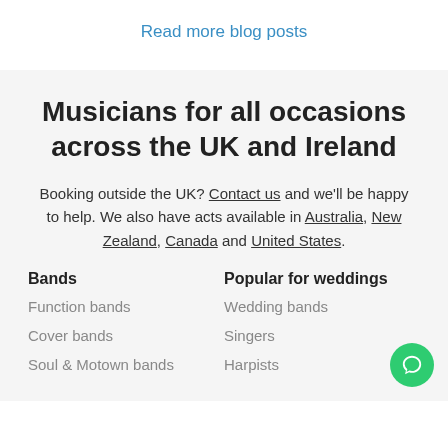Read more blog posts
Musicians for all occasions across the UK and Ireland
Booking outside the UK? Contact us and we'll be happy to help. We also have acts available in Australia, New Zealand, Canada and United States.
Bands
Popular for weddings
Function bands
Wedding bands
Cover bands
Singers
Soul & Motown bands
Harpists